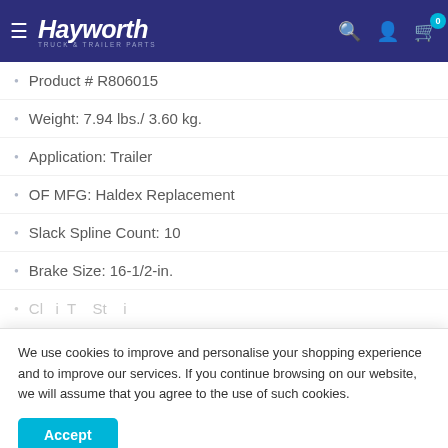Hayworth Truck & Trailer Parts
Product # R806015
Weight: 7.94 lbs./ 3.60 kg.
Application: Trailer
OF MFG: Haldex Replacement
Slack Spline Count: 10
Brake Size: 16-1/2-in.
We use cookies to improve and personalise your shopping experience and to improve our services. If you continue browsing on our website, we will assume that you agree to the use of such cookies.
Total Width: 4-1/2-in.